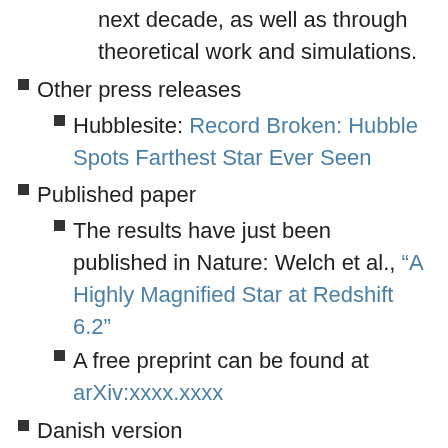next decade, as well as through theoretical work and simulations.
Other press releases
Hubblesite: Record Broken: Hubble Spots Farthest Star Ever Seen
Published paper
The results have just been published in Nature: Welch et al., “A Highly Magnified Star at Redshift 6.2”
A free preprint can be found at arXiv:xxxx.xxxx
Danish version
To read this news story in Danish, click here.
/Public Release. This material from the